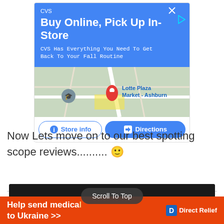[Figure (screenshot): CVS advertisement card with blue header showing 'Buy Online, Pick Up In-Store' text, a Google Map showing Lotte Plaza Market - Ashburn location, and two buttons: Store info and Directions]
Now Lets move on to our best spotting scope reviews.......... 🙂
[Figure (screenshot): Bottom banner with orange background showing 'Help send medica... to Ukraine >>' and Direct Relief logo, with a 'Scroll To Top' overlay button]